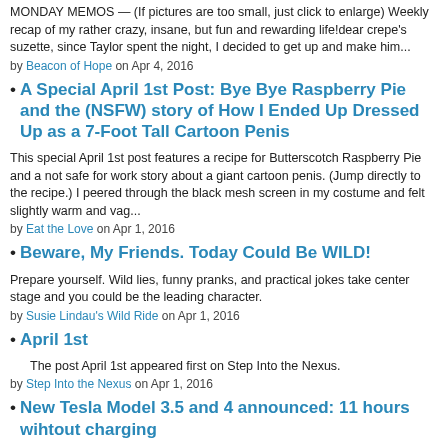MONDAY MEMOS — (If pictures are too small, just click to enlarge) Weekly recap of my rather crazy, insane, but fun and rewarding life!dear crepe's suzette, since Taylor spent the night, I decided to get up and make him...
by Beacon of Hope on Apr 4, 2016
A Special April 1st Post: Bye Bye Raspberry Pie and the (NSFW) story of How I Ended Up Dressed Up as a 7-Foot Tall Cartoon Penis
This special April 1st post features a recipe for Butterscotch Raspberry Pie and a not safe for work story about a giant cartoon penis. (Jump directly to the recipe.) I peered through the black mesh screen in my costume and felt slightly warm and vag...
by Eat the Love on Apr 1, 2016
Beware, My Friends. Today Could Be WILD!
Prepare yourself. Wild lies, funny pranks, and practical jokes take center stage and you could be the leading character.
by Susie Lindau's Wild Ride on Apr 1, 2016
April 1st
The post April 1st appeared first on Step Into the Nexus.
by Step Into the Nexus on Apr 1, 2016
New Tesla Model 3.5 and 4 announced: 11 hours wihtout charging
Tesla Model 3No more need for supercharging in 2018, as today Tesla announced the futuristic Tesla model 3.5 and model 4. They come with a special battery, with this battery you can drive from NYC to Florida without charging.These 2 new models will a...